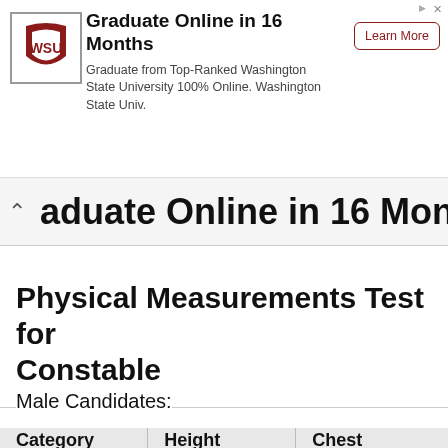[Figure (other): Advertisement banner for Washington State University online program. Logo of WSU on left, title 'Graduate Online in 16 Months', body text 'Graduate from Top-Ranked Washington State University 100% Online. Washington State Univ.', and a 'Learn More' button.]
aduate Online in 16 Months
Graduate from Top-Ranked Washington State University 100% Online.
Physical Measurements Test for Constable
Male Candidates:
| Category | Height | Chest |
| --- | --- | --- |